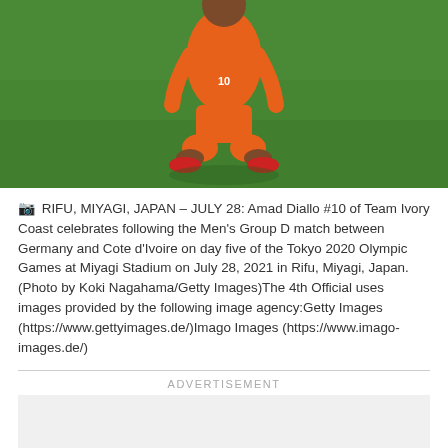[Figure (photo): A soccer player in orange jersey and shorts kneeling on a green grass field, seen from waist down only, celebrating.]
📷 RIFU, MIYAGI, JAPAN – JULY 28: Amad Diallo #10 of Team Ivory Coast celebrates following the Men's Group D match between Germany and Cote d'Ivoire on day five of the Tokyo 2020 Olympic Games at Miyagi Stadium on July 28, 2021 in Rifu, Miyagi, Japan. (Photo by Koki Nagahama/Getty Images)The 4th Official uses images provided by the following image agency:Getty Images (https://www.gettyimages.de/)Imago Images (https://www.imago-images.de/)
ADVERTISEMENT